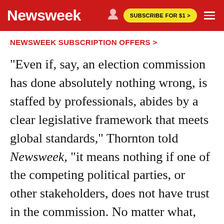Newsweek | SUBSCRIBE FOR $1 >
NEWSWEEK SUBSCRIPTION OFFERS >
"Even if, say, an election commission has done absolutely nothing wrong, is staffed by professionals, abides by a clear legislative framework that meets global standards," Thornton told Newsweek, "it means nothing if one of the competing political parties, or other stakeholders, does not have trust in the commission. No matter what, they will cast doubt on the election process, undermining its legitimacy. It's been the absolute hardest part